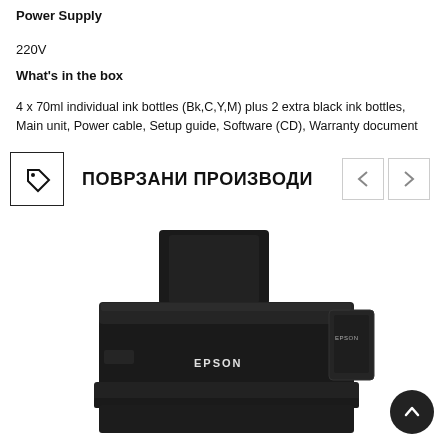Power Supply
220V
What's in the box
4 x 70ml individual ink bottles (Bk,C,Y,M) plus 2 extra black ink bottles, Main unit, Power cable, Setup guide, Software (CD), Warranty document
ПОВРЗАНИ ПРОИЗВОДИ
[Figure (photo): Photo of an Epson L310 inkjet printer, black color, shown from front-left angle with paper tray raised]